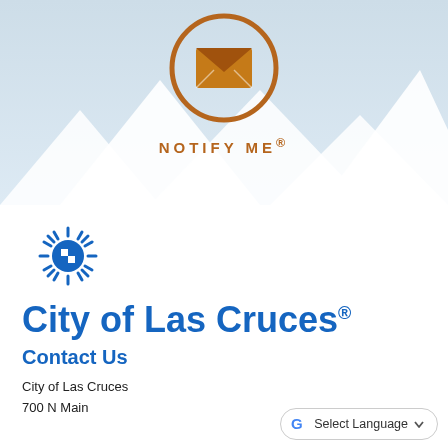[Figure (illustration): Notify Me icon: orange envelope inside orange circle, over a light blue background with white mountain silhouettes]
NOTIFY ME®
[Figure (logo): City of Las Cruces sun/cross logo in blue]
City of Las Cruces®
Contact Us
City of Las Cruces
700 N Main
[Figure (other): Google Translate button with G logo and 'Select Language' dropdown]